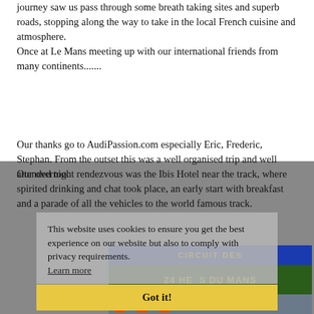journey saw us pass through some breath taking sites and superb roads, stopping along the way to take in the local French cuisine and atmosphere.
Once at Le Mans meeting up with our international friends from many continents.......
Our thanks go to AudiPassion.com especially Eric, Frederic, Stephan. From the outset this was a well organised trip and well attended too.
Our overnight rendezvous was the Ibis Hotel near the track, where spirited drinking and chat took place, an early start with breakfast and a parade of all the vehicles to the world famous track.
This website uses cookies to ensure you get the best experience on our website but also to comply with privacy requirements. Learn more
Got it!
[Figure (photo): Photo of Le Mans 24 Hours circuit sign with orange traffic cones in front, people visible in background]